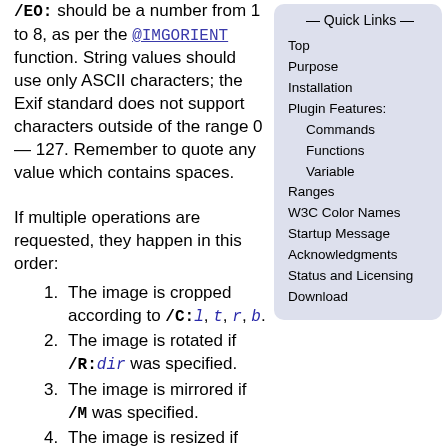/EO: should be a number from 1 to 8, as per the @IMGORIENT function. String values should use only ASCII characters; the Exif standard does not support characters outside of the range 0 — 127. Remember to quote any value which contains spaces.
— Quick Links —
Top
Purpose
Installation
Plugin Features:
Commands
Functions
Variable
Ranges
W3C Color Names
Startup Message
Acknowledgments
Status and Licensing
Download
If multiple operations are requested, they happen in this order:
1. The image is cropped according to /C:l, t, r, b.
2. The image is rotated if /R:dir was specified.
3. The image is mirrored if /M was specified.
4. The image is resized if /S:x, y was given.